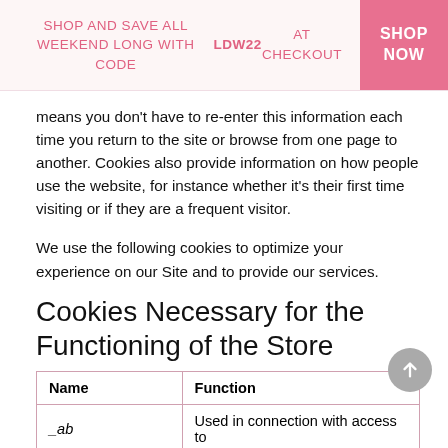SHOP AND SAVE ALL WEEKEND LONG WITH CODE LDW22 AT CHECKOUT | SHOP NOW
means you don't have to re-enter this information each time you return to the site or browse from one page to another. Cookies also provide information on how people use the website, for instance whether it's their first time visiting or if they are a frequent visitor.
We use the following cookies to optimize your experience on our Site and to provide our services.
Cookies Necessary for the Functioning of the Store
| Name | Function |
| --- | --- |
| _ab | Used in connection with access to |